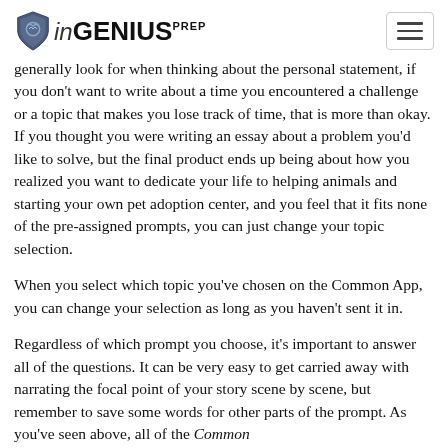InGenius Prep
generally look for when thinking about the personal statement, if you don't want to write about a time you encountered a challenge or a topic that makes you lose track of time, that is more than okay. If you thought you were writing an essay about a problem you'd like to solve, but the final product ends up being about how you realized you want to dedicate your life to helping animals and starting your own pet adoption center, and you feel that it fits none of the pre-assigned prompts, you can just change your topic selection.
When you select which topic you've chosen on the Common App, you can change your selection as long as you haven't sent it in.
Regardless of which prompt you choose, it's important to answer all of the questions. It can be very easy to get carried away with narrating the focal point of your story scene by scene, but remember to save some words for other parts of the prompt. As you've seen above, all of the Common